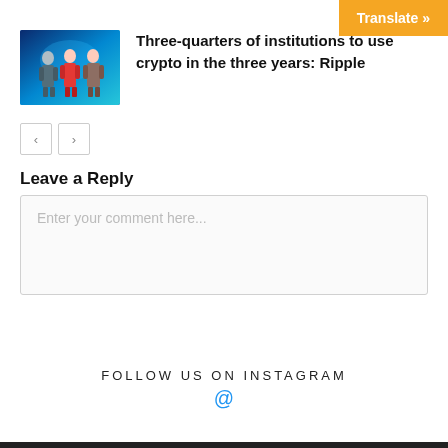Translate »
[Figure (illustration): Three figures standing in a sci-fi blue-lit scene]
Three-quarters of institutions to use crypto in the three years: Ripple
< >
Leave a Reply
Enter your comment here...
FOLLOW US ON INSTAGRAM
@